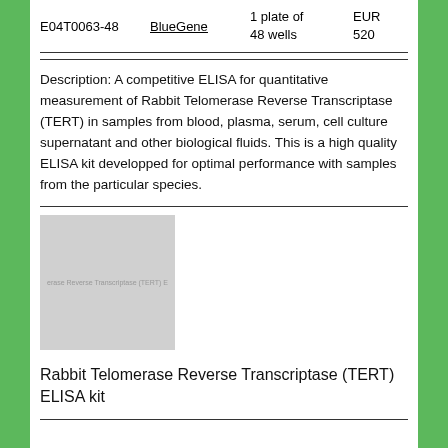| ID | Brand | Quantity | Price |
| --- | --- | --- | --- |
| E04T0063-48 | BlueGene | 1 plate of 48 wells | EUR 520 |
Description: A competitive ELISA for quantitative measurement of Rabbit Telomerase Reverse Transcriptase (TERT) in samples from blood, plasma, serum, cell culture supernatant and other biological fluids. This is a high quality ELISA kit developped for optimal performance with samples from the particular species.
[Figure (photo): Product image placeholder for Rabbit Telomerase Reverse Transcriptase (TERT) ELISA kit, gray rectangle with faint text overlay]
Rabbit Telomerase Reverse Transcriptase (TERT) ELISA kit